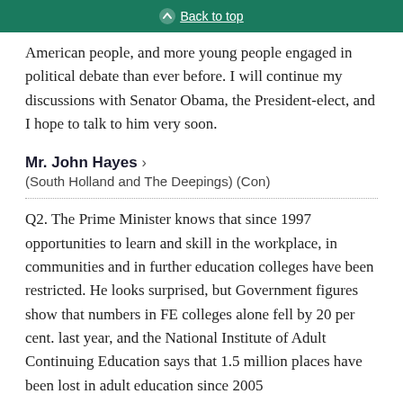Back to top
American people, and more young people engaged in political debate than ever before. I will continue my discussions with Senator Obama, the President-elect, and I hope to talk to him very soon.
Mr. John Hayes
(South Holland and The Deepings) (Con)
Q2. The Prime Minister knows that since 1997 opportunities to learn and skill in the workplace, in communities and in further education colleges have been restricted. He looks surprised, but Government figures show that numbers in FE colleges alone fell by 20 per cent. last year, and the National Institute of Adult Continuing Education says that 1.5 million places have been lost in adult education since 2005